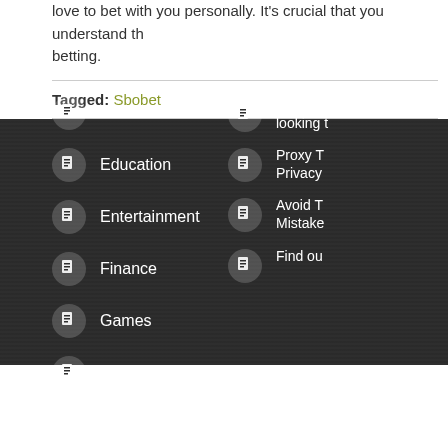love to bet with you personally. It's crucial that you understand th... betting.
Tagged: Sbobet
Business
Education
Entertainment
Finance
Games
General
Go To W... looking t...
Proxy T... Privacy
Avoid T... Mistake
Find ou...